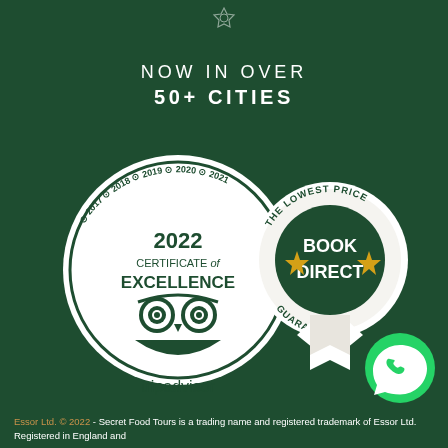[Figure (logo): Small decorative logo/icon at top center on dark green background]
NOW IN OVER 50+ CITIES
[Figure (illustration): TripAdvisor 2022 Certificate of Excellence badge with years 2017-2021 around the ring and owl logo, alongside a 'Book Direct - The Lowest Price Guaranteed' ribbon badge with gold stars, and a WhatsApp green circle icon in bottom right]
Essor Ltd. © 2022 - Secret Food Tours is a trading name and registered trademark of Essor Ltd. Registered in England and